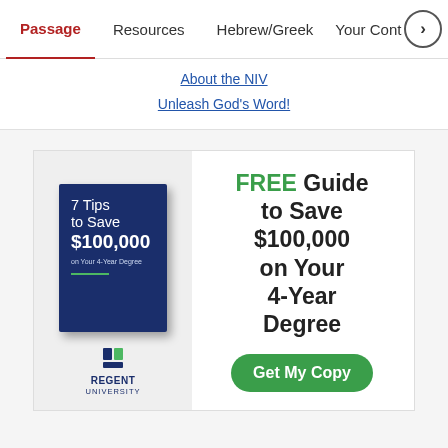Passage | Resources | Hebrew/Greek | Your Cont >
About the NIV
Unleash God's Word!
[Figure (illustration): Advertisement for Regent University: FREE Guide to Save $100,000 on Your 4-Year Degree. Shows a book cover titled '7 Tips to Save $100,000 on Your 4-Year Degree' and a 'Get My Copy' button. Regent University logo at bottom left.]